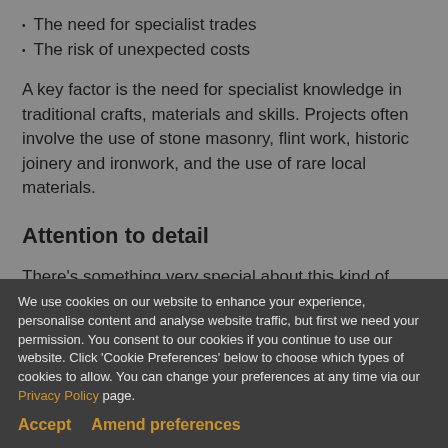The need for specialist trades
The risk of unexpected costs
A key factor is the need for specialist knowledge in traditional crafts, materials and skills. Projects often involve the use of stone masonry, flint work, historic joinery and ironwork, and the use of rare local materials.
Attention to detail
There's something very special about this kind of work. In these types of projects considerable emotions are often involved. We work sensitively to
We use cookies on our website to enhance your experience, personalise content and analyse website traffic, but first we need your permission. You consent to our cookies if you continue to use our website. Click 'Cookie Preferences' below to choose which types of cookies to allow. You can change your preferences at any time via our Privacy Policy page.
Accept    Amend preferences